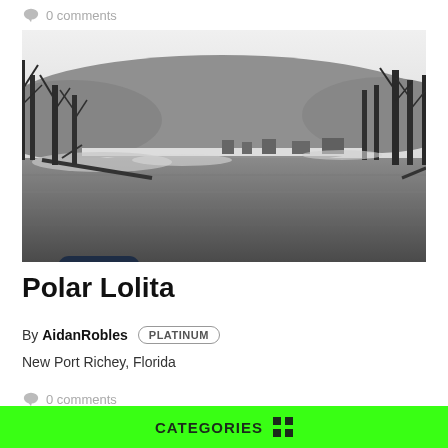0 comments
[Figure (photo): Black and white landscape photo of a river or lake with bare winter trees on both banks and hills in the background. Snow visible on the ground. A POETRY badge overlaid in bottom-left corner.]
Polar Lolita
By AidanRobles PLATINUM
New Port Richey, Florida
0 comments
CATEGORIES